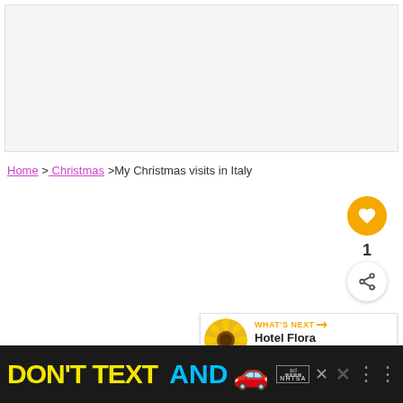[Figure (other): Light gray advertisement placeholder box at top of page]
Home > Christmas > My Christmas visits in Italy
[Figure (other): Golden circular heart/like button with heart icon, count of 1 below, and white circular share button]
[Figure (other): WHAT'S NEXT panel showing sunflower thumbnail and text: Hotel Flora Venice Italy]
[Figure (other): Bottom black banner ad: DON'T TEXT AND with red car emoji, ad label, NHTSA stars, close X buttons and weather dots]